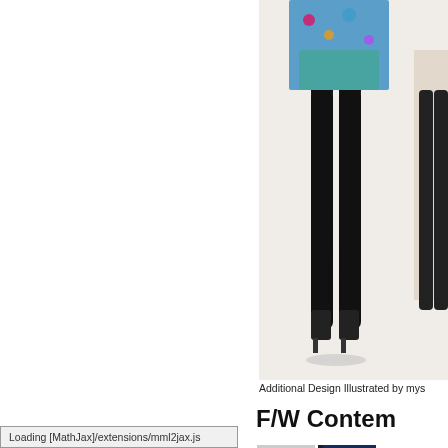[Figure (illustration): Fashion illustration showing lower half of figure wearing patterned short dress/skirt with black tights and heels, partially cropped at top. Second partially visible figure at right edge.]
Additional Design Illustrated by mys
F/W Conten
[Figure (photo): Grid of 6 thumbnail images: abstract colorful light streaks on dark background (selected/highlighted), modern angular building exterior at night, fashion flat sketches on white background, clothing technical sketch, fashion illustration of jacket in colorful collage style, abstract colored light streaks]
Loading [MathJax]/extensions/mml2jax.js